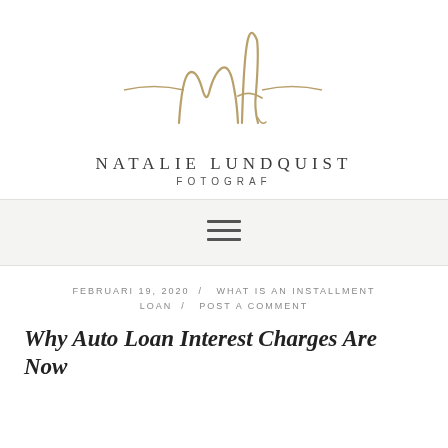[Figure (logo): Natalie Lundquist Fotograf logo with cursive 'nl' monogram in gold/tan color above the text brand name]
NATALIE LUNDQUIST
FOTOGRAF
[Figure (infographic): Hamburger menu icon (three horizontal lines) on a light gray navigation bar]
FEBRUARI 19, 2020  /  WHAT IS AN INSTALLMENT LOAN  /  POST A COMMENT
Why Auto Loan Interest Charges Are Now Actually Pricing You — What It Appears?